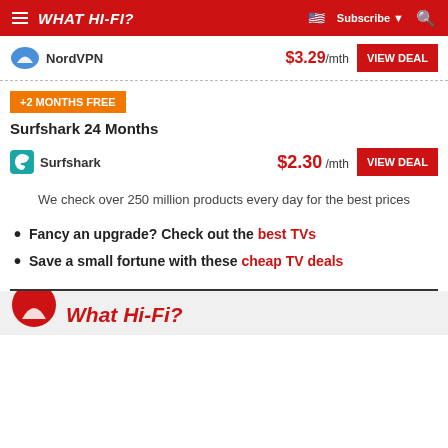WHAT HI-FI?
NordVPN  $3.29/mth  VIEW DEAL
+2 MONTHS FREE
Surfshark 24 Months
Surfshark  $2.30/mth  VIEW DEAL
We check over 250 million products every day for the best prices
Fancy an upgrade? Check out the best TVs
Save a small fortune with these cheap TV deals
What Hi-Fi?